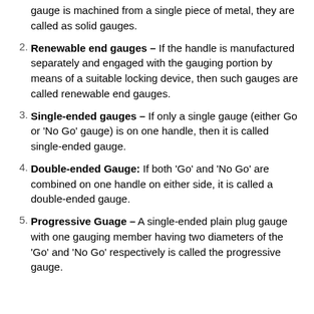gauge is machined from a single piece of metal, they are called as solid gauges.
Renewable end gauges – If the handle is manufactured separately and engaged with the gauging portion by means of a suitable locking device, then such gauges are called renewable end gauges.
Single-ended gauges – If only a single gauge (either Go or 'No Go' gauge) is on one handle, then it is called single-ended gauge.
Double-ended Gauge: If both 'Go' and 'No Go' are combined on one handle on either side, it is called a double-ended gauge.
Progressive Guage – A single-ended plain plug gauge with one gauging member having two diameters of the 'Go' and 'No Go' respectively is called the progressive gauge.